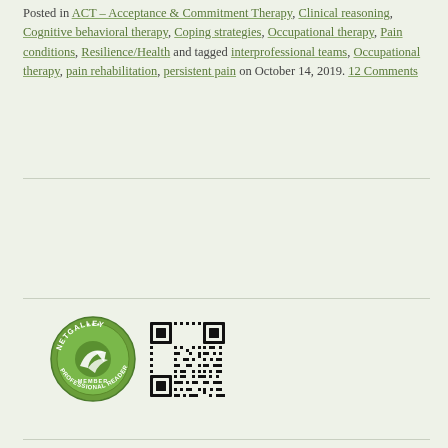Posted in ACT – Acceptance & Commitment Therapy, Clinical reasoning, Cognitive behavioral therapy, Coping strategies, Occupational therapy, Pain conditions, Resilience/Health and tagged interprofessional teams, Occupational therapy, pain rehabilitation, persistent pain on October 14, 2019. 12 Comments
[Figure (logo): NetGalley Member Professional Reader circular badge logo in green and white]
[Figure (other): QR code square barcode image]